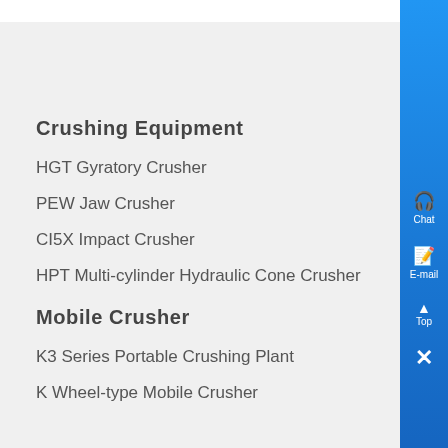Crushing Equipment
HGT Gyratory Crusher
PEW Jaw Crusher
CI5X Impact Crusher
HPT Multi-cylinder Hydraulic Cone Crusher
Mobile Crusher
K3 Series Portable Crushing Plant
K Wheel-type Mobile Crusher